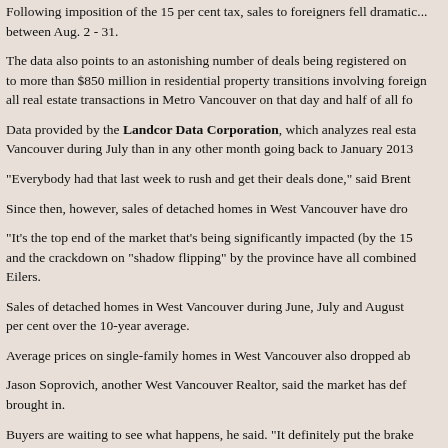Following imposition of the 15 per cent tax, sales to foreigners fell dramatically between Aug. 2 - 31.
The data also points to an astonishing number of deals being registered on to more than $850 million in residential property transitions involving foreign all real estate transactions in Metro Vancouver on that day and half of all fo
Data provided by the Landcor Data Corporation, which analyzes real esta Vancouver during July than in any other month going back to January 2013
"Everybody had that last week to rush and get their deals done," said Brent
Since then, however, sales of detached homes in West Vancouver have dro
"It's the top end of the market that's being significantly impacted (by the 15 and the crackdown on "shadow flipping" by the province have all combined Eilers.
Sales of detached homes in West Vancouver during June, July and August per cent over the 10-year average.
Average prices on single-family homes in West Vancouver also dropped ab
Jason Soprovich, another West Vancouver Realtor, said the market has def brought in.
Buyers are waiting to see what happens, he said. "It definitely put the brake
West Vancouver MLA Ralph Sultan said he's received well over 100 emails Realtor said "he just saw $400,000 in commissions going down the road," s
Sultan said the tax has definitely had a chilling effect – which is what was in
He added nobody will likely know the full impact of the tax before next sprin premature."